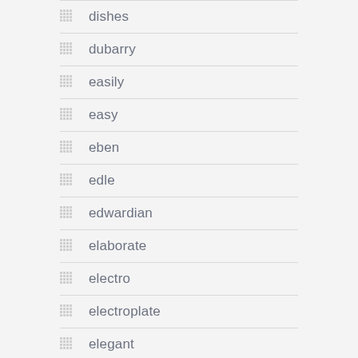dishes
dubarry
easily
easy
eben
edle
edwardian
elaborate
electro
electroplate
elegant